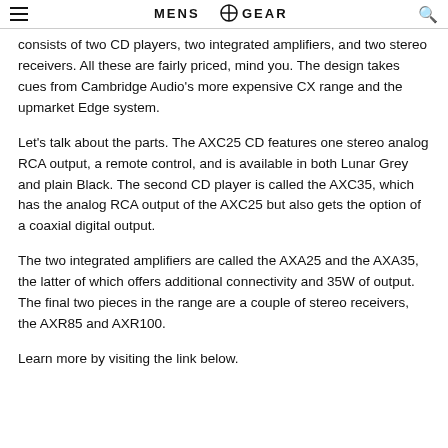MENS GEAR
consists of two CD players, two integrated amplifiers, and two stereo receivers. All these are fairly priced, mind you. The design takes cues from Cambridge Audio's more expensive CX range and the upmarket Edge system.
Let's talk about the parts. The AXC25 CD features one stereo analog RCA output, a remote control, and is available in both Lunar Grey and plain Black. The second CD player is called the AXC35, which has the analog RCA output of the AXC25 but also gets the option of a coaxial digital output.
The two integrated amplifiers are called the AXA25 and the AXA35, the latter of which offers additional connectivity and 35W of output. The final two pieces in the range are a couple of stereo receivers, the AXR85 and AXR100.
Learn more by visiting the link below.